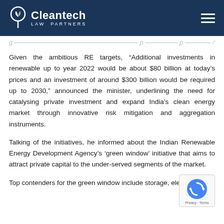Cleantech Law Partners
Given the ambitious RE targets, “Additional investments in renewable up to year 2022 would be about $80 billion at today’s prices and an investment of around $300 billion would be required up to 2030,” announced the minister, underlining the need for catalysing private investment and expand India’s clean energy market through innovative risk mitigation and aggregation instruments.
Talking of the initiatives, he informed about the Indian Renewable Energy Development Agency’s ‘green window’ initiative that aims to attract private capital to the under-served segments of the market.
Top contenders for the green window include storage, electric